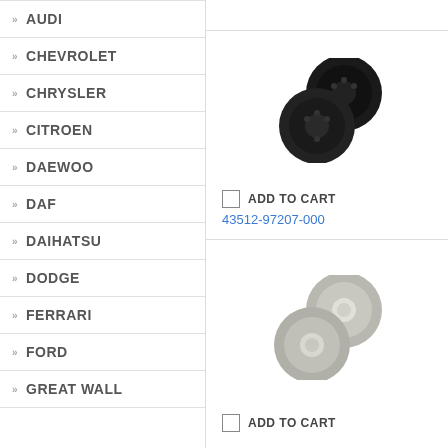>> AUDI
>> CHEVROLET
>> CHRYSLER
>> CITROEN
>> DAEWOO
>> DAF
>> DAIHATSU
>> DODGE
>> FERRARI
>> FORD
>> GREAT WALL
[Figure (photo): Two dark/black brake discs]
ADD TO CART
43512-97207-000
[Figure (photo): Two silver/metallic brake discs]
ADD TO CART